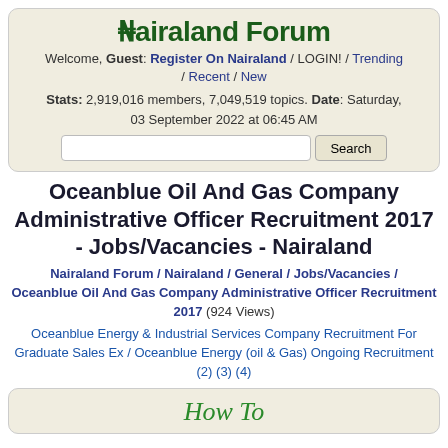Nairaland Forum
Welcome, Guest: Register On Nairaland / LOGIN! / Trending / Recent / New
Stats: 2,919,016 members, 7,049,519 topics. Date: Saturday, 03 September 2022 at 06:45 AM
Oceanblue Oil And Gas Company Administrative Officer Recruitment 2017 - Jobs/Vacancies - Nairaland
Nairaland Forum / Nairaland / General / Jobs/Vacancies / Oceanblue Oil And Gas Company Administrative Officer Recruitment 2017 (924 Views)
Oceanblue Energy & Industrial Services Company Recruitment For Graduate Sales Ex / Oceanblue Energy (oil & Gas) Ongoing Recruitment (2) (3) (4)
How To